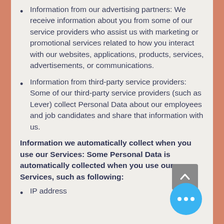Information from our advertising partners: We receive information about you from some of our service providers who assist us with marketing or promotional services related to how you interact with our websites, applications, products, services, advertisements, or communications.
Information from third-party service providers: Some of our third-party service providers (such as Lever) collect Personal Data about our employees and job candidates and share that information with us.
Information we automatically collect when you use our Services: Some Personal Data is automatically collected when you use our Services, such as following:
IP address